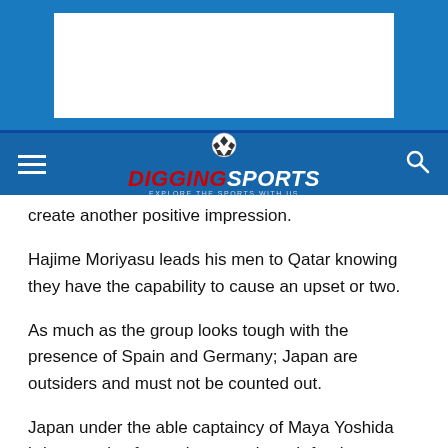[Figure (logo): DiggingSports website logo with soccer ball icon, red 'DIGGING' and white 'SPORTS' text, tagline 'EXPLORE THE SPORTS WITH US']
create another positive impression.
Hajime Moriyasu leads his men to Qatar knowing they have the capability to cause an upset or two.
As much as the group looks tough with the presence of Spain and Germany; Japan are outsiders and must not be counted out.
Japan under the able captaincy of Maya Yoshida brings a mix of experience and youth for the upcoming event.